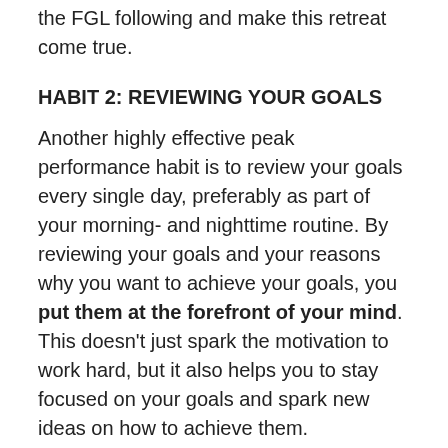the FGL following and make this retreat come true.
HABIT 2: REVIEWING YOUR GOALS
Another highly effective peak performance habit is to review your goals every single day, preferably as part of your morning- and nighttime routine. By reviewing your goals and your reasons why you want to achieve your goals, you put them at the forefront of your mind. This doesn't just spark the motivation to work hard, but it also helps you to stay focused on your goals and spark new ideas on how to achieve them.
The main reasons why people don't achieve their goals is because (1) they set too many goals and are therefore spread too thin with their time, energy and focus, and (2) they 'forget' about their